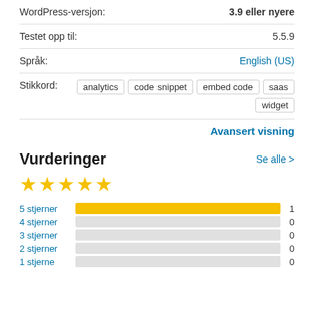WordPress-versjon: 3.9 eller nyere
Testet opp til: 5.5.9
Språk: English (US)
Stikkord: analytics  code snippet  embed code  saas  widget
Avansert visning
Vurderinger
Se alle >
[Figure (other): 5 yellow stars rating]
[Figure (bar-chart): Star rating distribution]